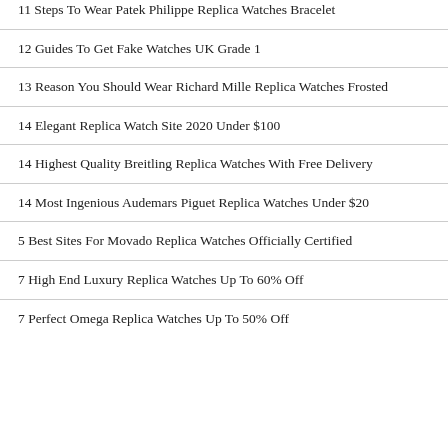11 Steps To Wear Patek Philippe Replica Watches Bracelet
12 Guides To Get Fake Watches UK Grade 1
13 Reason You Should Wear Richard Mille Replica Watches Frosted
14 Elegant Replica Watch Site 2020 Under $100
14 Highest Quality Breitling Replica Watches With Free Delivery
14 Most Ingenious Audemars Piguet Replica Watches Under $20
5 Best Sites For Movado Replica Watches Officially Certified
7 High End Luxury Replica Watches Up To 60% Off
7 Perfect Omega Replica Watches Up To 50% Off